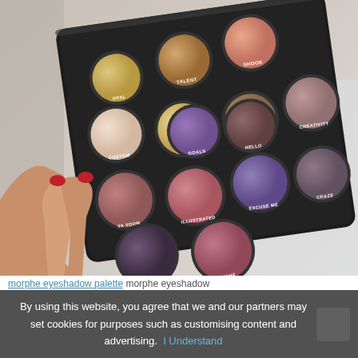[Figure (photo): A hand with red nail polish holding a Morphe eyeshadow palette. The palette is black and contains 15 eyeshadow pans in various shades from neutral beige/tan to mauve, purple, and burgundy. Each pan is labeled with a name: TALENT, SHOOK, OPAL, EDITORIAL, CREATIVITY, UNIQUE, GOALS, HELLO, CRAZE, CUSTOM, ILLUSTRATED, EXCUSE ME, VA VOOM, CLICHE, SCENE.]
morphe eyeshadow palette morphe eyeshadow
By using this website, you agree that we and our partners may set cookies for purposes such as customising content and advertising.  I Understand